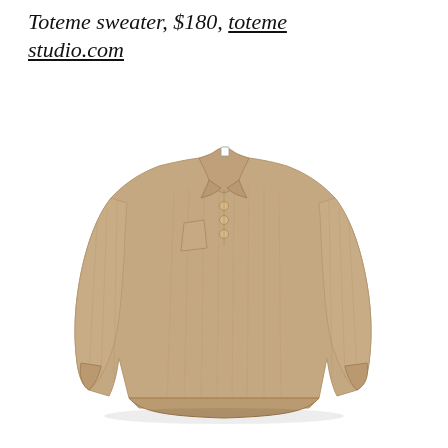Toteme sweater, $180, totemestudio.com
[Figure (photo): A tan/camel-colored long-sleeve polo knit sweater with ribbed texture, small collar, three buttons at the neckline, and a small chest pocket, displayed flat on a white background.]